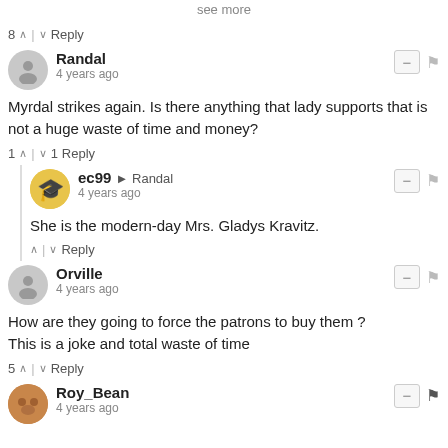see more
8 ^ | v  Reply
Randal
4 years ago
Myrdal strikes again. Is there anything that lady supports that is not a huge waste of time and money?
1 ^ | v 1  Reply
ec99 → Randal
4 years ago
She is the modern-day Mrs. Gladys Kravitz.
^ | v  Reply
Orville
4 years ago
How are they going to force the patrons to buy them ?
This is a joke and total waste of time
5 ^ | v  Reply
Roy_Bean
4 years ago